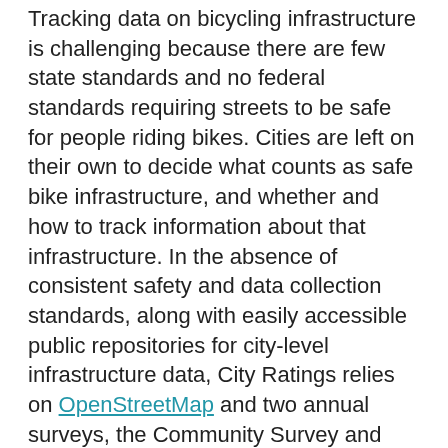Tracking data on bicycling infrastructure is challenging because there are few state standards and no federal standards requiring streets to be safe for people riding bikes. Cities are left on their own to decide what counts as safe bike infrastructure, and whether and how to track information about that infrastructure. In the absence of consistent safety and data collection standards, along with easily accessible public repositories for city-level infrastructure data, City Ratings relies on OpenStreetMap and two annual surveys, the Community Survey and City Snapshot, to measure the quality of cities' bike networks.
OpenStreetMap data...